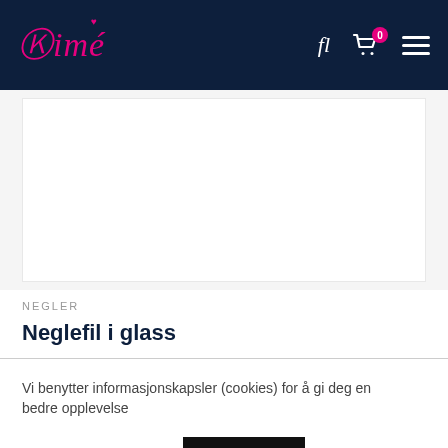Aimé — navigation header with logo, search, cart (0), and menu
[Figure (photo): Product image area showing white/light gray box representing a product photo placeholder]
NEGLER
Neglefil i glass
Vi benytter informasjonskapsler (cookies) for å gi deg en bedre opplevelse
Personvernerklæring  Jeg godtar